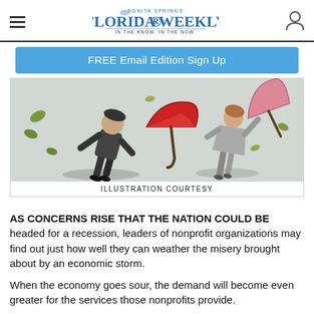Bonita Springs Florida Weekly — IN THE KNOW. IN THE NOW.
FREE Email Edition Sign Up
[Figure (illustration): Two people struggling against strong wind holding umbrellas, leaves blowing around them.]
ILLUSTRATION COURTESY
AS CONCERNS RISE THAT THE NATION COULD BE headed for a recession, leaders of nonprofit organizations may find out just how well they can weather the misery brought about by an economic storm.
When the economy goes sour, the demand will become even greater for the services those nonprofits provide.